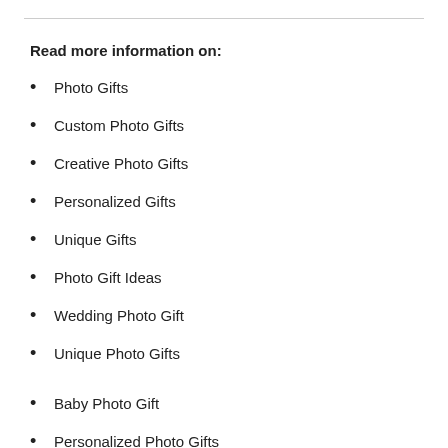Read more information on:
Photo Gifts
Custom Photo Gifts
Creative Photo Gifts
Personalized Gifts
Unique Gifts
Photo Gift Ideas
Wedding Photo Gift
Unique Photo Gifts
Baby Photo Gift
Personalized Photo Gifts